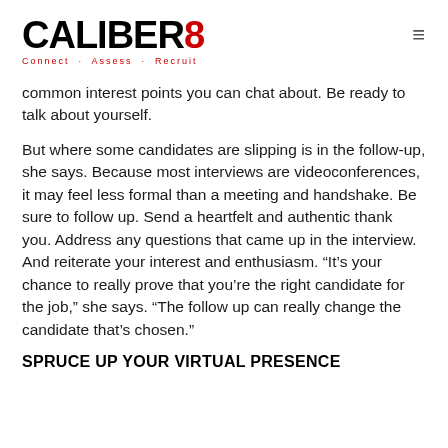CALIBER8 — Connect · Assess · Recruit
common interest points you can chat about. Be ready to talk about yourself.
But where some candidates are slipping is in the follow-up, she says. Because most interviews are videoconferences, it may feel less formal than a meeting and handshake. Be sure to follow up. Send a heartfelt and authentic thank you. Address any questions that came up in the interview. And reiterate your interest and enthusiasm. “It’s your chance to really prove that you’re the right candidate for the job,” she says. “The follow up can really change the candidate that’s chosen.”
SPRUCE UP YOUR VIRTUAL PRESENCE